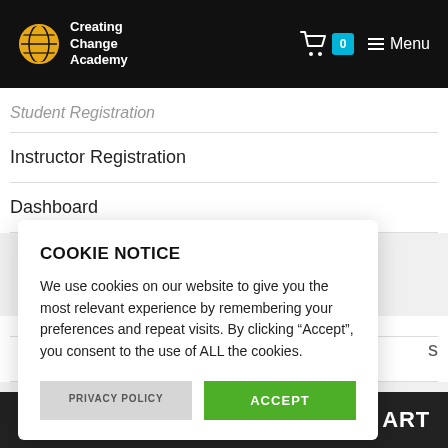[Figure (screenshot): Creating Change Academy website header with logo (globe icon), cart icon with 0 badge, and Menu navigation]
Student Registration
Instructor Registration
Dashboard
COOKIE NOTICE
We use cookies on our website to give you the most relevant experience by remembering your preferences and repeat visits. By clicking “Accept”, you consent to the use of ALL the cookies.
PRIVACY POLICY
ACCEPT
ART